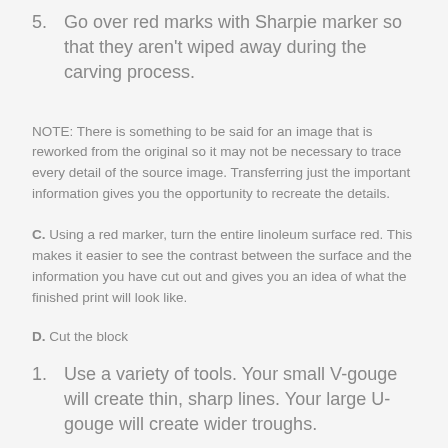5. Go over red marks with Sharpie marker so that they aren't wiped away during the carving process.
NOTE: There is something to be said for an image that is reworked from the original so it may not be necessary to trace every detail of the source image. Transferring just the important information gives you the opportunity to recreate the details.
C. Using a red marker, turn the entire linoleum surface red. This makes it easier to see the contrast between the surface and the information you have cut out and gives you an idea of what the finished print will look like.
D. Cut the block
1. Use a variety of tools. Your small V-gouge will create thin, sharp lines. Your large U-gouge will create wider troughs.
2. Always cut away from any part of your body!